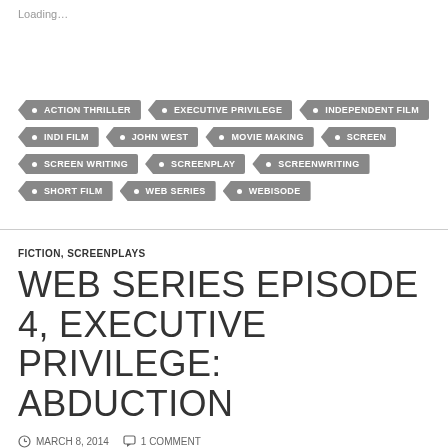Loading…
ACTION THRILLER
EXECUTIVE PRIVILEGE
INDEPENDENT FILM
INDI FILM
JOHN WEST
MOVIE MAKING
SCREEN
SCREEN WRITING
SCREENPLAY
SCREENWRITING
SHORT FILM
WEB SERIES
WEBISODE
FICTION, SCREENPLAYS
WEB SERIES EPISODE 4, EXECUTIVE PRIVILEGE: ABDUCTION
MARCH 8, 2014   1 COMMENT